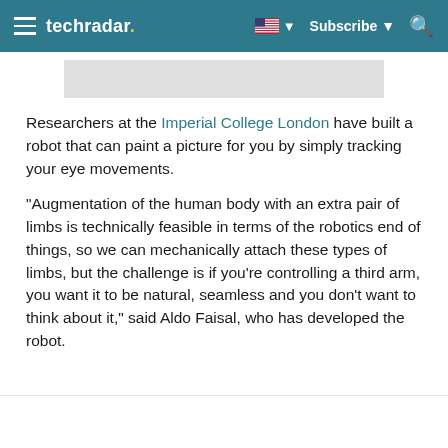techradar | Subscribe
[Figure (screenshot): Gray placeholder image area at top of article]
Researchers at the Imperial College London have built a robot that can paint a picture for you by simply tracking your eye movements.
"Augmentation of the human body with an extra pair of limbs is technically feasible in terms of the robotics end of things, so we can mechanically attach these types of limbs, but the challenge is if you're controlling a third arm, you want it to be natural, seamless and you don't want to think about it," said Aldo Faisal, who has developed the robot.